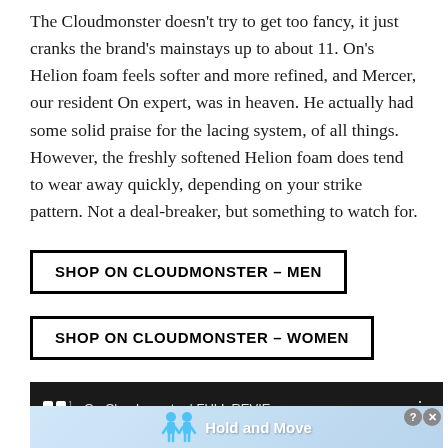The Cloudmonster doesn't try to get too fancy, it just cranks the brand's mainstays up to about 11. On's Helion foam feels softer and more refined, and Mercer, our resident On expert, was in heaven. He actually had some solid praise for the lacing system, of all things. However, the freshly softened Helion foam does tend to wear away quickly, depending on your strike pattern. Not a deal-breaker, but something to watch for.
SHOP ON CLOUDMONSTER – MEN
SHOP ON CLOUDMONSTER – WOMEN
[Figure (screenshot): Dark video player bar showing On Cloudmonster FULL REVIE... title with logo and options menu icon]
[Figure (screenshot): Advertisement strip showing Hold and Move text with cartoon figures, close button with X]